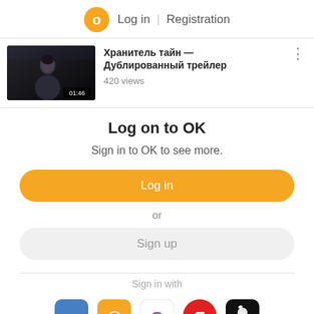Log in | Registration
[Figure (screenshot): Video thumbnail showing a dark scene with a person, duration 01:46]
Хранитель тайн — Дублированный трейлер
420 views
Log on to OK
Sign in to OK to see more.
Log in
or
Sign up
Sign in with
[Figure (logo): Social login icons: VK, Mail, Google, Yandex, Apple]